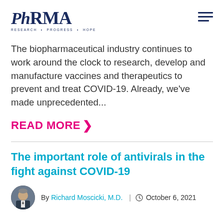[Figure (logo): PhRMA logo with tagline 'RESEARCH · PROGRESS · HOPE']
The biopharmaceutical industry continues to work around the clock to research, develop and manufacture vaccines and therapeutics to prevent and treat COVID-19. Already, we've made unprecedented...
READ MORE >
The important role of antivirals in the fight against COVID-19
By Richard Moscicki, M.D. | October 6, 2021